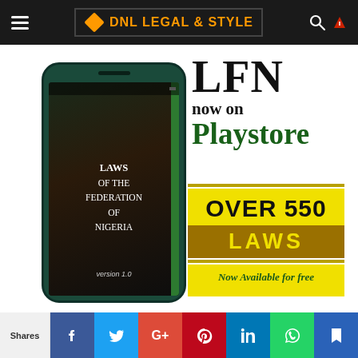DNL LEGAL & STYLE
[Figure (screenshot): Advertisement banner for LFN (Laws of the Federation of Nigeria) app on Google Playstore. Shows a smartphone displaying 'Laws of the Federation of Nigeria version 1.0' app, with text 'LFN now on Playstore - OVER 550 LAWS - Now Available for free']
Shares
Facebook Twitter Google+ Pinterest LinkedIn WhatsApp Save